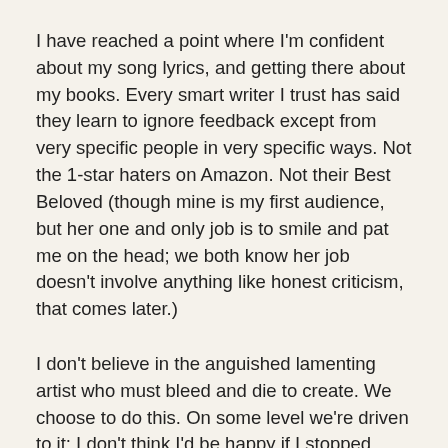I have reached a point where I'm confident about my song lyrics, and getting there about my books. Every smart writer I trust has said they learn to ignore feedback except from very specific people in very specific ways. Not the 1-star haters on Amazon. Not their Best Beloved (though mine is my first audience, but her one and only job is to smile and pat me on the head; we both know her job doesn't involve anything like honest criticism, that comes later.)
I don't believe in the anguished lamenting artist who must bleed and die to create. We choose to do this. On some level we're driven to it; I don't think I'd be happy if I stopped writing novels. But no one makes me do it, and a lot of folks never feel the joy of publishing a book or performing a song they wrote. I get to make art, and I'm happy about it. It takes work, though, to focus on the positives when Imposter Syndrome and Resistance